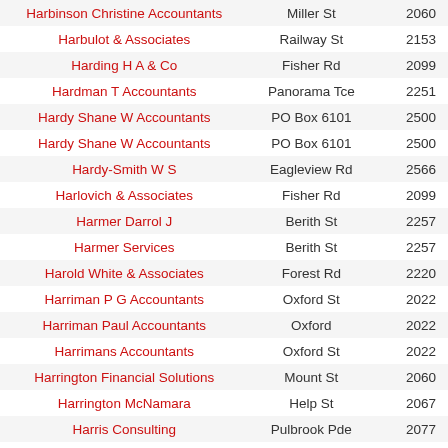| Name | Street | Postcode |
| --- | --- | --- |
| Harbinson Christine Accountants | Miller St | 2060 |
| Harbulot & Associates | Railway St | 2153 |
| Harding H A & Co | Fisher Rd | 2099 |
| Hardman T Accountants | Panorama Tce | 2251 |
| Hardy Shane W Accountants | PO Box 6101 | 2500 |
| Hardy Shane W Accountants | PO Box 6101 | 2500 |
| Hardy-Smith W S | Eagleview Rd | 2566 |
| Harlovich & Associates | Fisher Rd | 2099 |
| Harmer Darrol J | Berith St | 2257 |
| Harmer Services | Berith St | 2257 |
| Harold White & Associates | Forest Rd | 2220 |
| Harriman P G Accountants | Oxford St | 2022 |
| Harriman Paul Accountants | Oxford | 2022 |
| Harrimans Accountants | Oxford St | 2022 |
| Harrington Financial Solutions | Mount St | 2060 |
| Harrington McNamara | Help St | 2067 |
| Harris Consulting | Pulbrook Pde | 2077 |